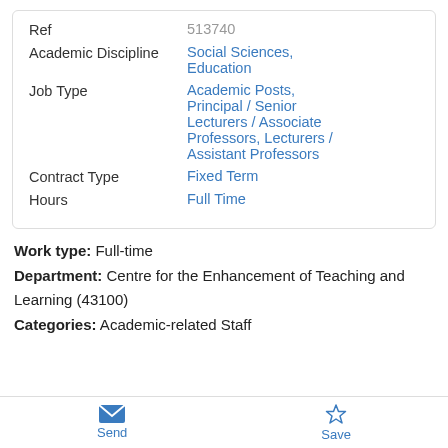| Field | Value |
| --- | --- |
| Ref | 513740 |
| Academic Discipline | Social Sciences, Education |
| Job Type | Academic Posts, Principal / Senior Lecturers / Associate Professors, Lecturers / Assistant Professors |
| Contract Type | Fixed Term |
| Hours | Full Time |
Work type: Full-time
Department: Centre for the Enhancement of Teaching and Learning (43100)
Categories: Academic-related Staff
Send | Save